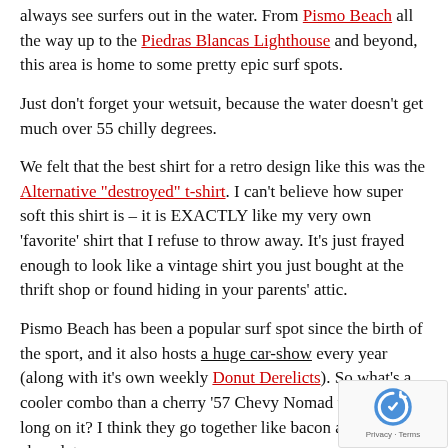always see surfers out in the water. From Pismo Beach all the way up to the Piedras Blancas Lighthouse and beyond, this area is home to some pretty epic surf spots.
Just don't forget your wetsuit, because the water doesn't get much over 55 chilly degrees.
We felt that the best shirt for a retro design like this was the Alternative "destroyed" t-shirt. I can't believe how super soft this shirt is – it is EXACTLY like my very own 'favorite' shirt that I refuse to throw away. It's just frayed enough to look like a vintage shirt you just bought at the thrift shop or found hiding in your parents' attic.
Pismo Beach has been a popular surf spot since the birth of the sport, and it also hosts a huge car-show every year (along with it's own weekly Donut Derelicts). So what's a cooler combo than a cherry '57 Chevy Nomad wagon with long... on it? I think they go together like bacon and chocolate...